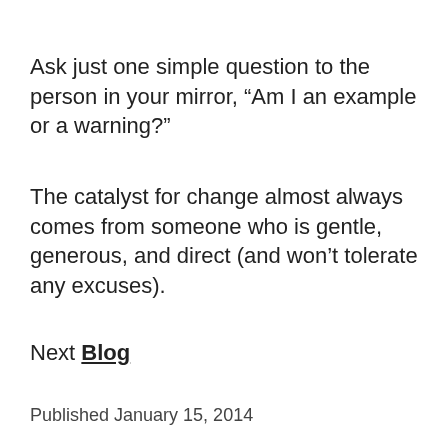Ask just one simple question to the person in your mirror, “Am I an example or a warning?”
The catalyst for change almost always comes from someone who is gentle, generous, and direct (and won’t tolerate any excuses).
Next Blog
Published January 15, 2014